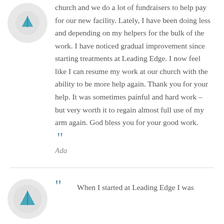church and we do a lot of fundraisers to help pay for our new facility. Lately, I have been doing less and depending on my helpers for the bulk of the work. I have noticed gradual improvement since starting treatments at Leading Edge. I now feel like I can resume my work at our church with the ability to be more help again. Thank you for your help. It was sometimes painful and hard work – but very worth it to regain almost full use of my arm again. God bless you for your good work.
Ada
When I started at Leading Edge I was